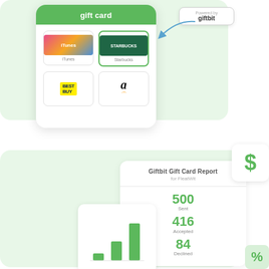[Figure (screenshot): Mobile app UI mockup showing a 'gift card' button with a grid of gift card brand options (iTunes, Starbucks, Best Buy, Amazon), overlaid on a light green rounded background. A callout bubble reads 'Powered by giftbit' with a blue arrow pointing to the Starbucks card.]
[Figure (bar-chart): Bar chart with 3 green bars of increasing height representing gift card data.]
Giftbit Gift Card Report
for FleatWit
500
Sent
416
Accepted
84
Declined